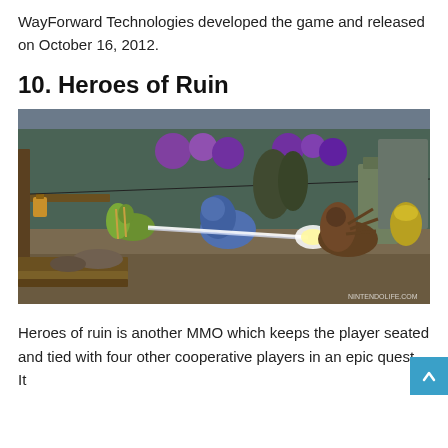WayForward Technologies developed the game and released on October 16, 2012.
10. Heroes of Ruin
[Figure (screenshot): Screenshot from Heroes of Ruin video game showing an isometric view of characters battling in a fantasy environment with purple orbs in the background and a lantern hanging from a wooden post on the left.]
Heroes of ruin is another MMO which keeps the player seated and tied with four other cooperative players in an epic quest. It